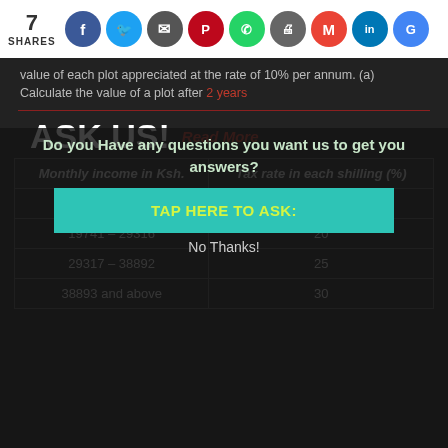7 SHARES — social share buttons: Facebook, Twitter, Save, Pinterest, WhatsApp, Print, Gmail, LinkedIn, Google
value of each plot appreciated at the rate of 10% per annum. (a) Calculate the value of a plot after 2 years
ASK US!  Read More
Do you Have any questions you want us to get you answers?
| Monthly income in Ksh. | Tax rate in each shilling (%) |
| --- | --- |
| 10165 – 19740 | 15 |
| 19741 – 29316 | 20 |
| 29317 – 38892 | 25 |
| 38893 and above | 30 |
TAP HERE TO ASK:
No Thanks!